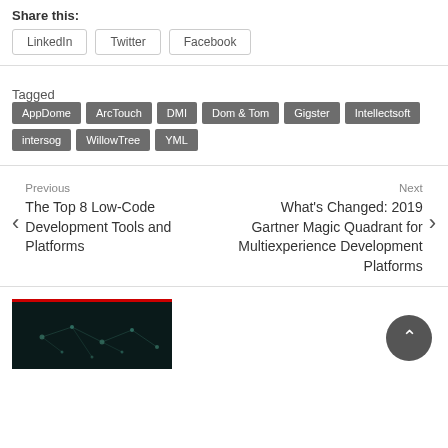Share this:
LinkedIn
Twitter
Facebook
Tagged  AppDome  ArcTouch  DMI  Dom & Tom  Gigster  Intellectsoft  intersog  WillowTree  YML
Previous
The Top 8 Low-Code Development Tools and Platforms
Next
What's Changed: 2019 Gartner Magic Quadrant for Multiexperience Development Platforms
[Figure (photo): Dark background image with dot network pattern and red top border, partial view at bottom of page]